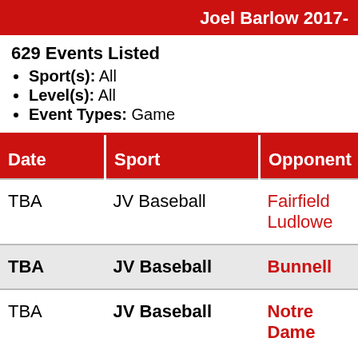Joel Barlow 2017-
629 Events Listed
Sport(s): All
Level(s): All
Event Types: Game
| Date | Sport | Opponent |
| --- | --- | --- |
| TBA | JV Baseball | Fairfield Ludlowe |
| TBA | JV Baseball | Bunnell |
| TBA | JV Baseball | Notre Dame |